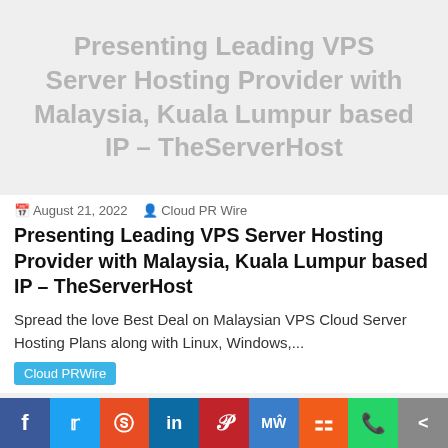[Figure (illustration): Hero banner with light grey background showing the article title text in grey: Presenting Leading VPS Server Hosting Provider with Malaysia, Kuala Lumpur based IP – TheServerHost]
August 21, 2022   Cloud PR Wire
Presenting Leading VPS Server Hosting Provider with Malaysia, Kuala Lumpur based IP – TheServerHost
Spread the love Best Deal on Malaysian VPS Cloud Server Hosting Plans along with Linux, Windows,...
Cloud PRWire
[Figure (other): Grey bar / partially visible content area]
[Figure (infographic): Social sharing bar with icons: Facebook (blue), Twitter (light blue), Reddit (orange-red), LinkedIn (blue), Pinterest (dark red), MeWe (blue), Mix (orange), WhatsApp (green), Share (grey)]